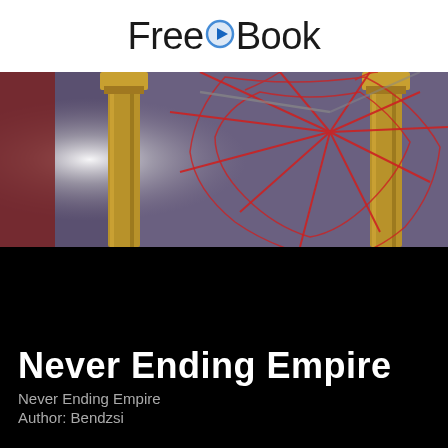FreeBook
[Figure (illustration): Book cover image showing ornate golden pillars with red spider-web cracks against a dark purple/grey background, with a white light effect on the left side. Fantasy/dark fantasy aesthetic.]
Never Ending Empire
Never Ending Empire
Author: Bendzsi